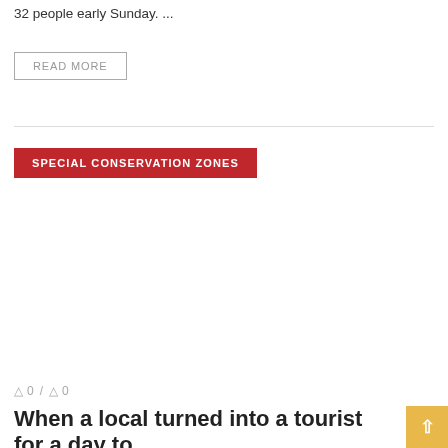32 people early Sunday. ...
READ MORE
SPECIAL CONSERVATION ZONES
0 / 0
When a local turned into a tourist for a day to